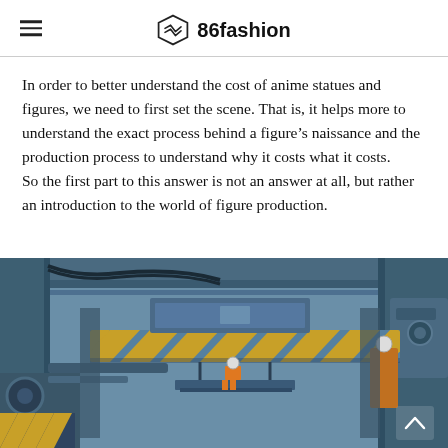86fashion
In order to better understand the cost of anime statues and figures, we need to first set the scene. That is, it helps more to understand the exact process behind a figure’s naissance and the production process to understand why it costs what it costs.
So the first part to this answer is not an answer at all, but rather an introduction to the world of figure production.
[Figure (illustration): Anime-style industrial scene showing a large factory or warehouse interior with blue steel structures, yellow-and-black striped beams, pipes and machinery. A worker in an orange suit stands on a platform in the center. The scene is rendered in a detailed, stylized anime art style with muted steel-blue tones.]